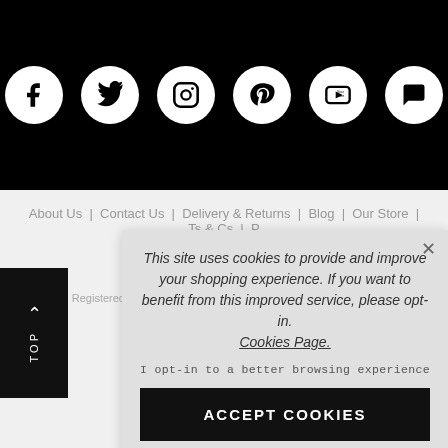[Figure (other): Black banner with six white circular social media icons: Facebook, Twitter, Instagram, Pinterest, YouTube, Chat/Comment]
About Us | Contact Us | Delivery & Returns | Blog | Our Store | Ts & Cs | P...
© ...
Cooshti Ltd. Registered offic...
Company Reg...
This site uses cookies to provide and improve your shopping experience. If you want to benefit from this improved service, please opt-in. Cookies Page.
I opt-in to a better browsing experience
ACCEPT COOKIES